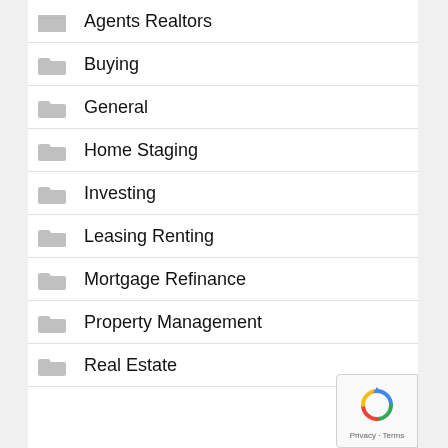Agents Realtors
Buying
General
Home Staging
Investing
Leasing Renting
Mortgage Refinance
Property Management
Real Estate